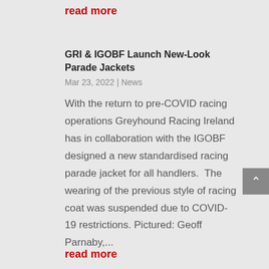read more
GRI & IGOBF Launch New-Look Parade Jackets
Mar 23, 2022 | News
With the return to pre-COVID racing operations Greyhound Racing Ireland has in collaboration with the IGOBF designed a new standardised racing parade jacket for all handlers.  The wearing of the previous style of racing coat was suspended due to COVID-19 restrictions. Pictured: Geoff Parnaby,...
read more